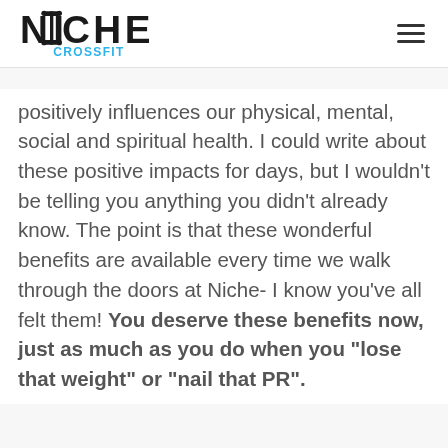NICHE CROSSFIT
positively influences our physical, mental, social and spiritual health. I could write about these positive impacts for days, but I wouldn't be telling you anything you didn't already know. The point is that these wonderful benefits are available every time we walk through the doors at Niche- I know you've all felt them! You deserve these benefits now, just as much as you do when you “lose that weight” or “nail that PR”.